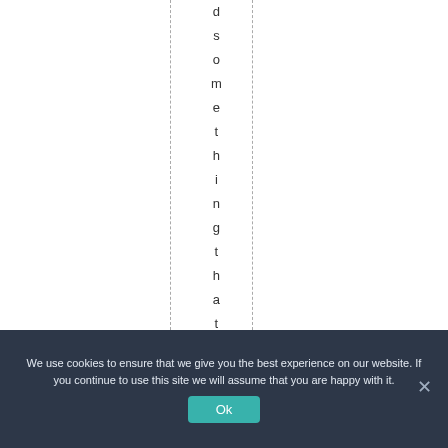d s o m e t h i n g t h a t w a s t
We use cookies to ensure that we give you the best experience on our website. If you continue to use this site we will assume that you are happy with it.